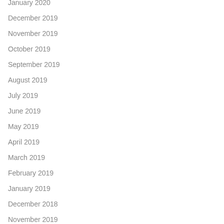January 2020
December 2019
November 2019
October 2019
September 2019
August 2019
July 2019
June 2019
May 2019
April 2019
March 2019
February 2019
January 2019
December 2018
November 2019